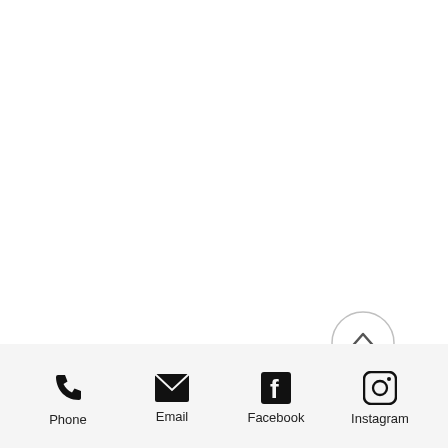[Figure (other): Scroll-to-top button: a circle with an upward chevron arrow inside]
[Figure (other): Footer navigation bar with four icons and labels: Phone (phone handset icon), Email (envelope icon), Facebook (Facebook 'f' icon), Instagram (Instagram camera icon)]